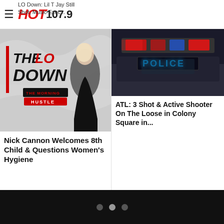HOT 107.9
LO Down: Lil T Jay Still Shot, Music Exec...
[Figure (photo): The Lo Down show graphic with woman in black outfit against crumpled white background]
Nick Cannon Welcomes 8th Child & Questions Women's Hygiene
[Figure (photo): Police car with lit POLICE sign on roof at night]
ATL: 3 Shot & Active Shooter On The Loose in Colony Square in...